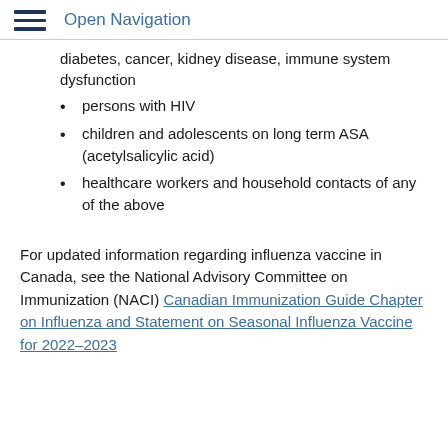Open Navigation
diabetes, cancer, kidney disease, immune system dysfunction
persons with HIV
children and adolescents on long term ASA (acetylsalicylic acid)
healthcare workers and household contacts of any of the above
For updated information regarding influenza vaccine in Canada, see the National Advisory Committee on Immunization (NACI) Canadian Immunization Guide Chapter on Influenza and Statement on Seasonal Influenza Vaccine for 2022–2023